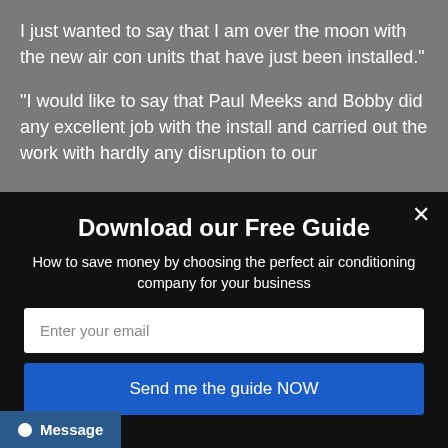I just wanted to say that I am over the moon with the new air con units that have just been installed."
"I would like to say that Paul Meeks and Bobby did any excellent job with the install and carried out the work with hardly any disruption to our
Download our Free Guide
How to save money by choosing the perfect air conditioning company for your business
Enter your email
Send me the guide NOW
Message